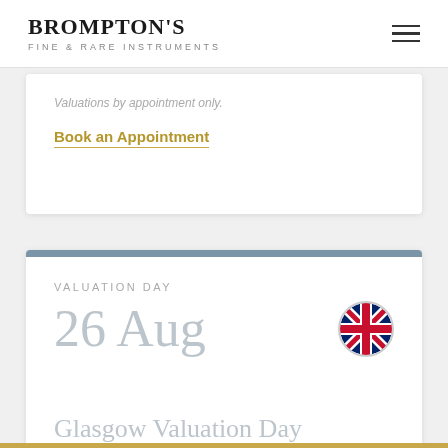BROMPTON'S FINE & RARE INSTRUMENTS
Valuations by appointment only.
Book an Appointment
VALUATION DAY
26 Aug
[Figure (illustration): UK flag icon, circular]
Glasgow Valuation Day